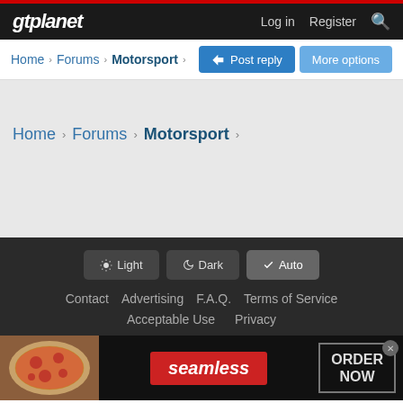gtplanet — Log in  Register
Home › Forums › Motorsport ›
Post reply   More options
Home › Forums › Motorsport ›
Light  Dark  Auto  Contact  Advertising  F.A.Q.  Terms of Service  Acceptable Use  Privacy
[Figure (screenshot): Advertisement banner for Seamless food delivery showing pizza images, Seamless logo, and ORDER NOW button with close button]